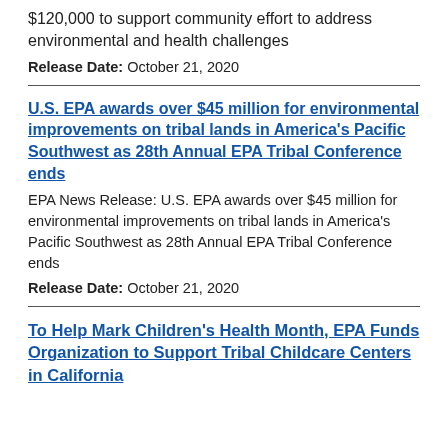$120,000 to support community effort to address environmental and health challenges
Release Date: October 21, 2020
U.S. EPA awards over $45 million for environmental improvements on tribal lands in America's Pacific Southwest as 28th Annual EPA Tribal Conference ends
EPA News Release: U.S. EPA awards over $45 million for environmental improvements on tribal lands in America's Pacific Southwest as 28th Annual EPA Tribal Conference ends
Release Date: October 21, 2020
To Help Mark Children's Health Month, EPA Funds Organization to Support Tribal Childcare Centers in California